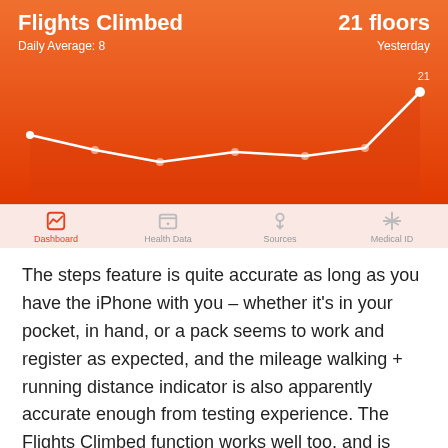[Figure (screenshot): iPhone Health app screenshot showing Flights Climbed widget with orange background line chart. Title: 'Flights Climbed', Daily Average: 8, 21 floors Yesterday. Chart shows data points with last point at 21. Bottom tab bar with Dashboard (active), Health Data, Sources, Medical ID.]
The steps feature is quite accurate as long as you have the iPhone with you – whether it's in your pocket, in hand, or a pack seems to work and register as expected, and the mileage walking + running distance indicator is also apparently accurate enough from testing experience. The Flights Climbed function works well too, and is fairly interesting in that it uses the new air pressure sensor built into iPhones to detect even minor changes in